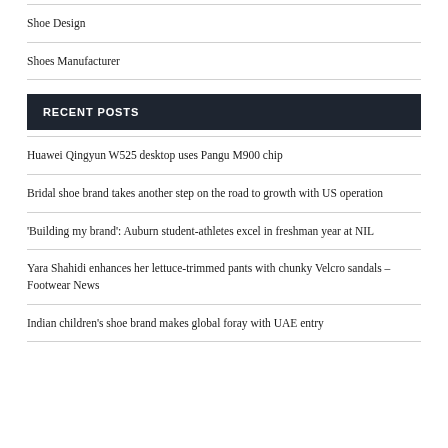Shoe Design
Shoes Manufacturer
RECENT POSTS
Huawei Qingyun W525 desktop uses Pangu M900 chip
Bridal shoe brand takes another step on the road to growth with US operation
'Building my brand': Auburn student-athletes excel in freshman year at NIL
Yara Shahidi enhances her lettuce-trimmed pants with chunky Velcro sandals – Footwear News
Indian children's shoe brand makes global foray with UAE entry